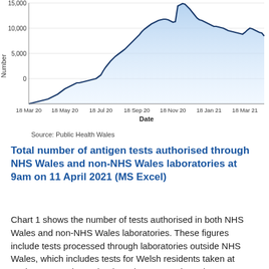[Figure (area-chart): Area and line chart showing daily COVID-19 tests authorised in Wales from March 2020 to April 2021, peaking around Jan 2021 at ~15,000]
Source: Public Health Wales
Total number of antigen tests authorised through NHS Wales and non-NHS Wales laboratories at 9am on 11 April 2021 (MS Excel)
Chart 1 shows the number of tests authorised in both NHS Wales and non-NHS Wales laboratories. These figures include tests processed through laboratories outside NHS Wales, which includes tests for Welsh residents taken at testing centres in England, testing centres in Wales, tests ordered through the organisation portal and home testing